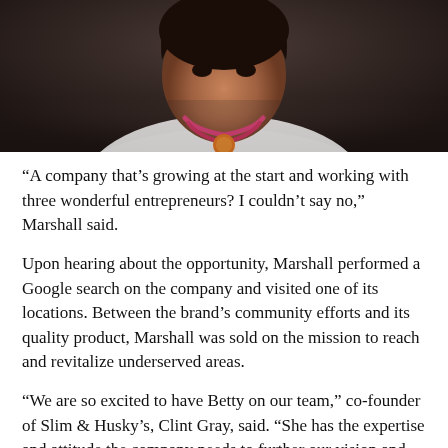[Figure (photo): Portrait photo of a woman wearing a white shirt and colorful necklace, photographed from shoulders up against a dark background.]
“A company that’s growing at the start and working with three wonderful entrepreneurs? I couldn’t say no,” Marshall said.
Upon hearing about the opportunity, Marshall performed a Google search on the company and visited one of its locations. Between the brand’s community efforts and its quality product, Marshall was sold on the mission to reach and revitalize underserved areas.
“We are so excited to have Betty on our team,” co-founder of Slim & Husky’s, Clint Gray, said. “She has the expertise and attitude the company needs to further our vision and impact a wide range of communities.”
Throughout her 25+ year career, Marshall has gathered a